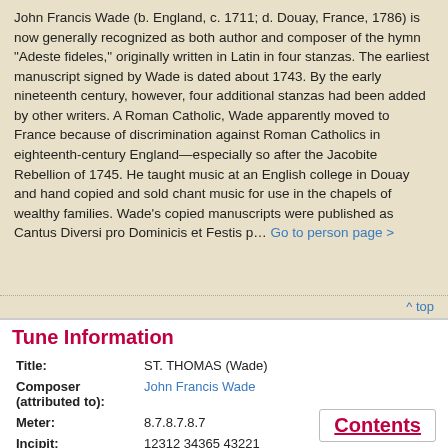John Francis Wade (b. England, c. 1711; d. Douay, France, 1786) is now generally recognized as both author and composer of the hymn "Adeste fideles," originally written in Latin in four stanzas. The earliest manuscript signed by Wade is dated about 1743. By the early nineteenth century, however, four additional stanzas had been added by other writers. A Roman Catholic, Wade apparently moved to France because of discrimination against Roman Catholics in eighteenth-century England—especially so after the Jacobite Rebellion of 1745. He taught music at an English college in Douay and hand copied and sold chant music for use in the chapels of wealthy families. Wade's copied manuscripts were published as Cantus Diversi pro Dominicis et Festis p… Go to person page >
Tune Information
| Field | Value |
| --- | --- |
| Title: | ST. THOMAS (Wade) |
| Composer (attributed to): | John Francis Wade |
| Meter: | 8.7.8.7.8.7 |
| Incipit: | 12312 34365 43221 |
| Notes: | Also known as: ADVENT, HOLYWOOD, ADORATION, |